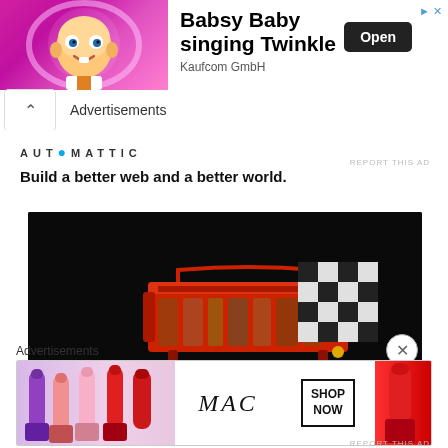[Figure (screenshot): Top banner ad: animated baby character on pink background, 'Babsy Baby singing Twinkle' text, Kaufcom GmbH, Open button]
Advertisements
[Figure (screenshot): Automattic ad: AUTOMATTIC logo, 'Build a better web and a better world.']
REPORT THIS AD
[Figure (photo): Product photo on black background showing red tool/organizer and black-and-white patterned object]
Advertisements
[Figure (screenshot): MAC cosmetics banner ad with lipsticks on left, MAC logo in center, SHOP NOW button, red lipstick on right]
REPORT THIS AD